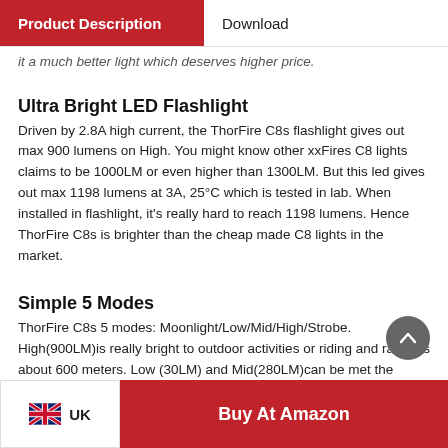Product Description | Download
it a much better light which deserves higher price.
Ultra Bright LED Flashlight
Driven by 2.8A high current, the ThorFire C8s flashlight gives out max 900 lumens on High. You might know other xxFires C8 lights claims to be 1000LM or even higher than 1300LM. But this led gives out max 1198 lumens at 3A, 25°C which is tested in lab. When installed in flashlight, it's really hard to reach 1198 lumens. Hence ThorFire C8s is brighter than the cheap made C8 lights in the market.
Simple 5 Modes
ThorFire C8s 5 modes: Moonlight/Low/Mid/High/Strobe. High(900LM)is really bright to outdoor activities or riding and range is about 600 meters. Low (30LM) and Mid(280LM)can be met the
UK | Buy At Amazon